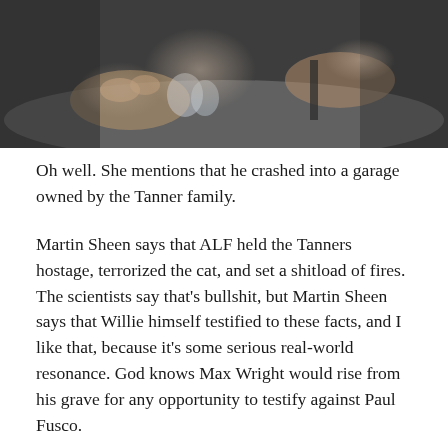[Figure (photo): A dark, close-up photo showing hands near objects on a surface, appearing to be a meeting or hearing setting.]
Oh well. She mentions that he crashed into a garage owned by the Tanner family.
Martin Sheen says that ALF held the Tanners hostage, terrorized the cat, and set a shitload of fires. The scientists say that’s bullshit, but Martin Sheen says that Willie himself testified to these facts, and I like that, because it’s some serious real-world resonance. God knows Max Wright would rise from his grave for any opportunity to testify against Paul Fusco.
It’s here that we learn offhandedly that the Tanners are gone forever and never coming back, so stop asking. They’ve been exiled to Iceland as part of the